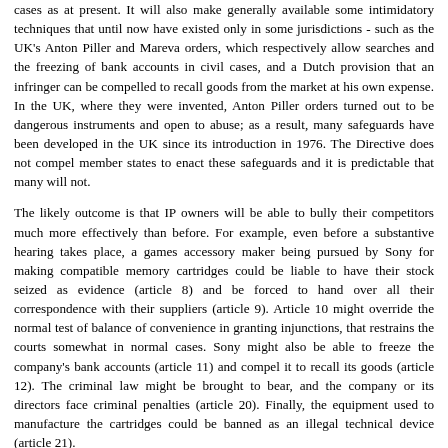cases as at present. It will also make generally available some intimidatory techniques that until now have existed only in some jurisdictions - such as the UK's Anton Piller and Mareva orders, which respectively allow searches and the freezing of bank accounts in civil cases, and a Dutch provision that an infringer can be compelled to recall goods from the market at his own expense. In the UK, where they were invented, Anton Piller orders turned out to be dangerous instruments and open to abuse; as a result, many safeguards have been developed in the UK since its introduction in 1976. The Directive does not compel member states to enact these safeguards and it is predictable that many will not.
The likely outcome is that IP owners will be able to bully their competitors much more effectively than before. For example, even before a substantive hearing takes place, a games accessory maker being pursued by Sony for making compatible memory cartridges could be liable to have their stock seized as evidence (article 8) and be forced to hand over all their correspondence with their suppliers (article 9). Article 10 might override the normal test of balance of convenience in granting injunctions, that restrains the courts somewhat in normal cases. Sony might also be able to freeze the company's bank accounts (article 11) and compel it to recall its goods (article 12). The criminal law might be brought to bear, and the company or its directors face criminal penalties (article 20). Finally, the equipment used to manufacture the cartridges could be banned as an illegal technical device (article 21).